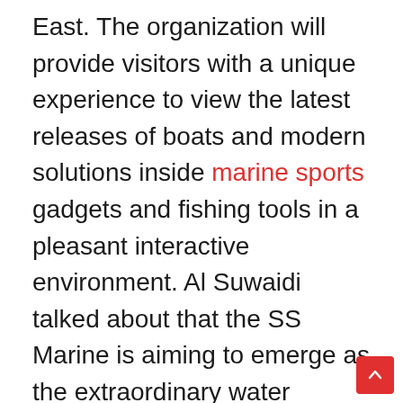East. The organization will provide visitors with a unique experience to view the latest releases of boats and modern solutions inside marine sports gadgets and fishing tools in a pleasant interactive environment. Al Suwaidi talked about that the SS Marine is aiming to emerge as the extraordinary water recreation distributor in the Middle East in the next few years, while it owns unique franchises for the world's main marine enterprise groups. He was taken into consideration that the UAE is one of the fastest-growing markets inside the global of luxury yachts and Dubai is a global capital for marine industries, and that the growing demand for marine services and products requires the upgrading of such products and services to fulfill the expectancies of customers at all stages. He indicated that SS Marine is entirely dedicated to accomplishing an advantage to all its clients in the high-quality, efficiency, and variety of products it offers to luxury yacht and various marine sports